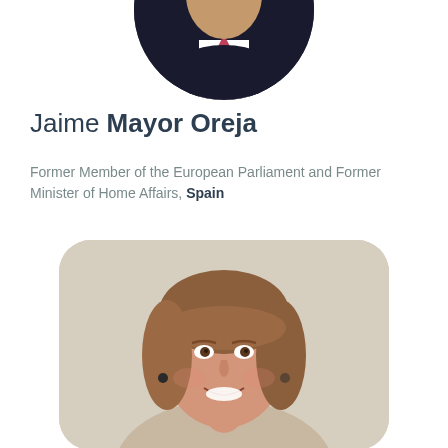[Figure (photo): Circular cropped portrait photo of Jaime Mayor Oreja, partially visible at top of page, showing a man in a dark suit with a pink tie]
Jaime Mayor Oreja
Former Member of the European Parliament and Former Minister of Home Affairs, Spain
[Figure (photo): Rounded rectangle portrait photo of a woman with brown/auburn hair, smiling, wearing small dark earrings, against a light beige background]